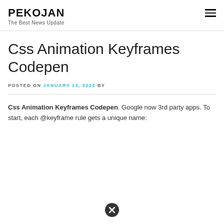PEKOJAN
The Best News Update
Css Animation Keyframes Codepen
POSTED ON JANUARY 13, 2022 BY
Css Animation Keyframes Codepen. Google now 3rd party apps. To start, each @keyframe rule gets a unique name: